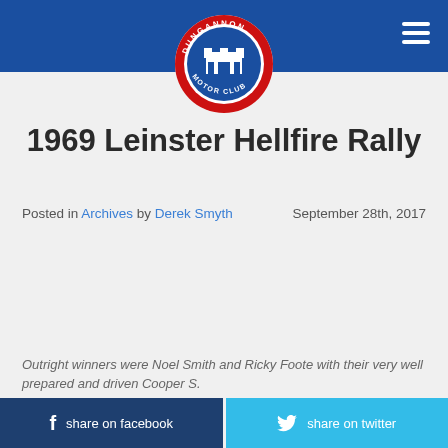Dungannon Motor Club
1969 Leinster Hellfire Rally
Posted in Archives by Derek Smyth   September 28th, 2017
Outright winners were Noel Smith and Ricky Foote with their very well prepared and driven Cooper S.
share on facebook   share on twitter